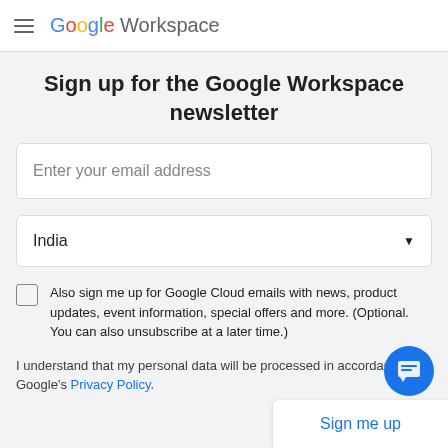Google Workspace
Sign up for the Google Workspace newsletter
Enter your email address
India
Also sign me up for Google Cloud emails with news, product updates, event information, special offers and more. (Optional. You can also unsubscribe at a later time.)
I understand that my personal data will be processed in accordance with Google's Privacy Policy.
Sign me up